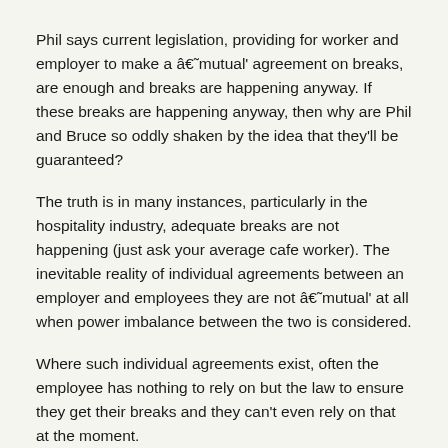Phil says current legislation, providing for worker and employer to make a â€˜mutual' agreement on breaks, are enough and breaks are happening anyway. If these breaks are happening anyway, then why are Phil and Bruce so oddly shaken by the idea that they'll be guaranteed?
The truth is in many instances, particularly in the hospitality industry, adequate breaks are not happening (just ask your average cafe worker). The inevitable reality of individual agreements between an employer and employees they are not â€˜mutual' at all when power imbalance between the two is considered.
Where such individual agreements exist, often the employee has nothing to rely on but the law to ensure they get their breaks and they can't even rely on that at the moment.
Perhaps what Bruce is really trying to lament with his